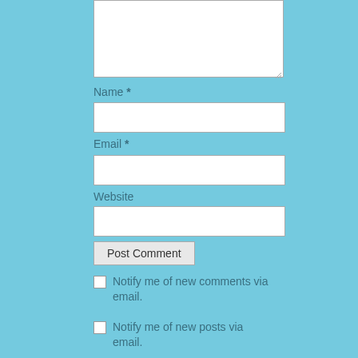[Figure (screenshot): A web comment form with a textarea (partially visible at top), Name field with asterisk, Email field with asterisk, Website field, Post Comment button, and two checkbox options for email notifications about new comments and new posts.]
Name *
Email *
Website
Post Comment
Notify me of new comments via email.
Notify me of new posts via email.